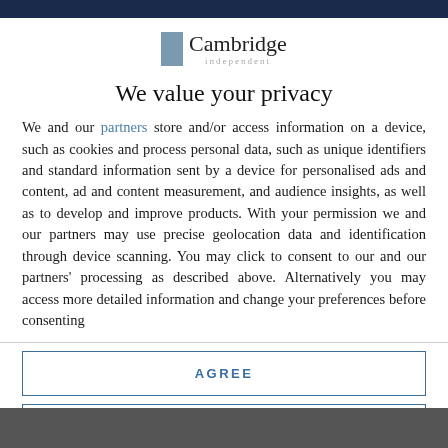[Figure (logo): Cambridge Independent logo with grey rectangle icon and text]
We value your privacy
We and our partners store and/or access information on a device, such as cookies and process personal data, such as unique identifiers and standard information sent by a device for personalised ads and content, ad and content measurement, and audience insights, as well as to develop and improve products. With your permission we and our partners may use precise geolocation data and identification through device scanning. You may click to consent to our and our partners' processing as described above. Alternatively you may access more detailed information and change your preferences before consenting
AGREE
MORE OPTIONS
[Figure (photo): Photo partially visible at bottom of page]